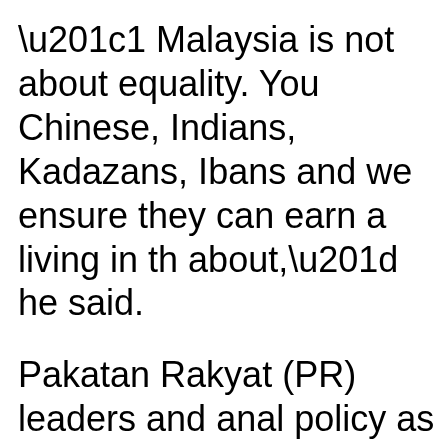“1 Malaysia is not about equality. You Chinese, Indians, Kadazans, Ibans and we ensure they can earn a living in th about,” he said.
Pakatan Rakyat (PR) leaders and anal policy as a “work in regress”, citing th refusal to defend the concept against
Recently, there has been a spike in rac principals allegedly spouting racist slu MP’s visit to a surau.